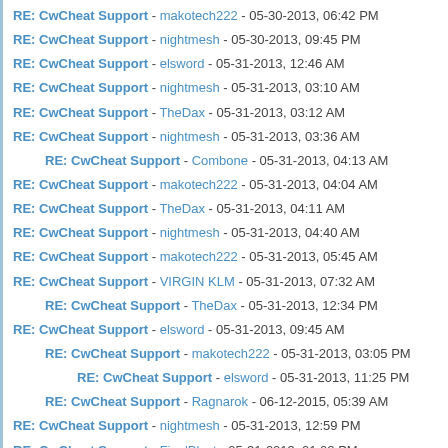RE: CwCheat Support - makotech222 - 05-30-2013, 06:42 PM
RE: CwCheat Support - nightmesh - 05-30-2013, 09:45 PM
RE: CwCheat Support - elsword - 05-31-2013, 12:46 AM
RE: CwCheat Support - nightmesh - 05-31-2013, 03:10 AM
RE: CwCheat Support - TheDax - 05-31-2013, 03:12 AM
RE: CwCheat Support - nightmesh - 05-31-2013, 03:36 AM
RE: CwCheat Support - Combone - 05-31-2013, 04:13 AM (indent1)
RE: CwCheat Support - makotech222 - 05-31-2013, 04:04 AM
RE: CwCheat Support - TheDax - 05-31-2013, 04:11 AM
RE: CwCheat Support - nightmesh - 05-31-2013, 04:40 AM
RE: CwCheat Support - makotech222 - 05-31-2013, 05:45 AM
RE: CwCheat Support - VIRGIN KLM - 05-31-2013, 07:32 AM
RE: CwCheat Support - TheDax - 05-31-2013, 12:34 PM (indent1)
RE: CwCheat Support - elsword - 05-31-2013, 09:45 AM
RE: CwCheat Support - makotech222 - 05-31-2013, 03:05 PM (indent1)
RE: CwCheat Support - elsword - 05-31-2013, 11:25 PM (indent2)
RE: CwCheat Support - Ragnarok - 06-12-2015, 05:39 AM (indent1)
RE: CwCheat Support - nightmesh - 05-31-2013, 12:59 PM
RE: CwCheat Support - FinalBlast - 05-31-2013, 01:02 PM
RE: CwCheat Support - TheDax - 05-31-2013, 01:10 PM
RE: CwCheat Support - nightmesh - 05-31-2013, 01:16 PM
RE: CwCheat Support - Schiffy - 05-31-2013, 01:21 PM
RE: CwCheat Support - nightmesh - 05-31-2013, 01:40 PM (indent1)
RE: CwCheat Support - FinalBlast - 05-31-2013, 01:24 PM
RE: CwCheat Support - Schiffy - 05-31-2013, 01:45 PM